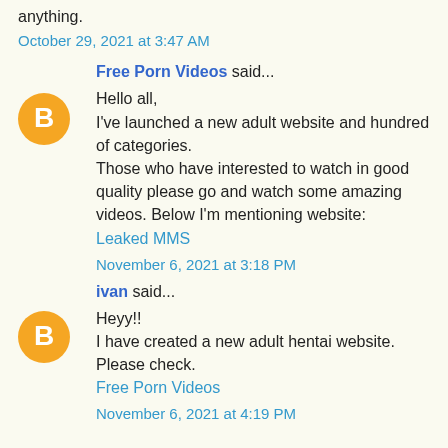anything.
October 29, 2021 at 3:47 AM
Free Porn Videos said...
[Figure (other): Blogger avatar icon - orange circle with white B letter]
Hello all,
I've launched a new adult website and hundred of categories.
Those who have interested to watch in good quality please go and watch some amazing videos. Below I'm mentioning website:
Leaked MMS
November 6, 2021 at 3:18 PM
ivan said...
[Figure (other): Blogger avatar icon - orange circle with white B letter]
Heyy!!
I have created a new adult hentai website. Please check.
Free Porn Videos
November 6, 2021 at 4:19 PM